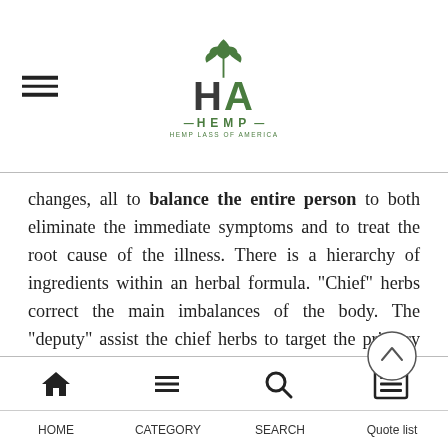Hemp Lass of America logo
changes, all to balance the entire person to both eliminate the immediate symptoms and to treat the root cause of the illness. There is a hierarchy of ingredients within an herbal formula. “Chief” herbs correct the main imbalances of the body. The “deputy” assist the chief herbs to target the primary condition and treat a secondary condition. The “assistant” reinforces the action of the chief and deputy, as well as harmonizing harsh effects or toxicity of the herbs. Finally, the “envoy” is the messenger herb that directs the effects of the formula to individual channels or areas of the
HOME | CATEGORY | SEARCH | Quote list